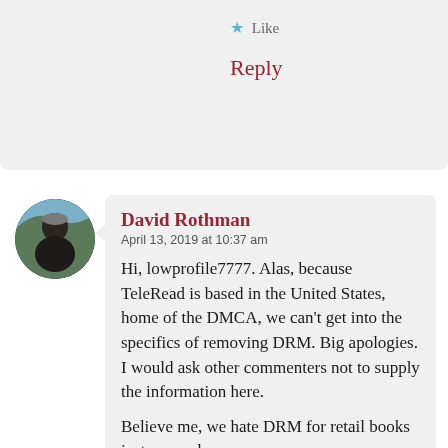★ Like
Reply
[Figure (photo): Circular avatar photo of David Rothman, showing an older man with white/gray hair outdoors.]
David Rothman
April 13, 2019 at 10:37 am
Hi, lowprofile7777. Alas, because TeleRead is based in the United States, home of the DMCA, we can't get into the specifics of removing DRM. Big apologies. I would ask other commenters not to supply the information here.
Believe me, we hate DRM for retail books just as much as